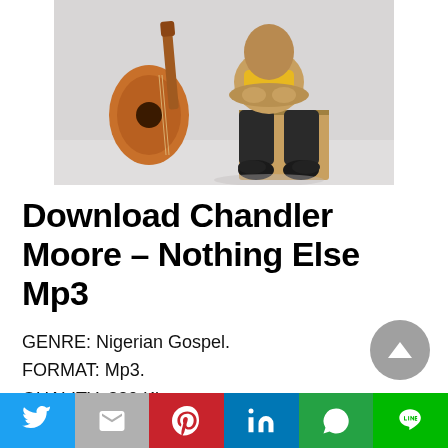[Figure (photo): A musician sitting on a wooden box (cajon) with an acoustic guitar leaning beside them. The person wears dark jeans and sneakers with a yellow top. White studio background.]
Download Chandler Moore – Nothing Else Mp3
GENRE: Nigerian Gospel.
FORMAT: Mp3.
QUALITY: 320 Kbps.
YEAR: 2021.
Share buttons: Twitter, Gmail, Pinterest, LinkedIn, WhatsApp, Line